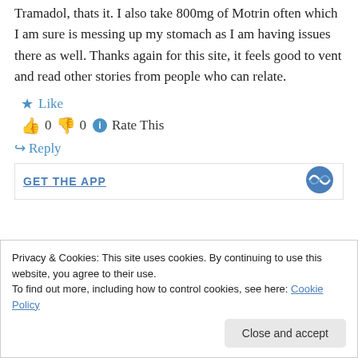Tramadol, thats it. I also take 800mg of Motrin often which I am sure is messing up my stomach as I am having issues there as well. Thanks again for this site, it feels good to vent and read other stories from people who can relate.
★ Like
👍 0 👎 0 ℹ Rate This
↪ Reply
GET THE APP
Privacy & Cookies: This site uses cookies. By continuing to use this website, you agree to their use.
To find out more, including how to control cookies, see here: Cookie Policy
Close and accept